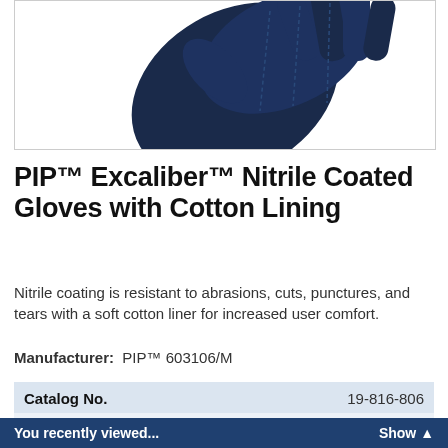[Figure (photo): Dark navy blue nitrile coated gloves product photo on white background]
PIP™ Excaliber™ Nitrile Coated Gloves with Cotton Lining
Nitrile coating is resistant to abrasions, cuts, punctures, and tears with a soft cotton liner for increased user comfort.
Manufacturer:  PIP™ 603106/M
| Catalog No. | 19-816-806 |
| --- | --- |
⚠ This item has been discontinued by the manufacturer and is no longer available. Please call customer service for assistance: 1-800-766-7000.
You recently viewed...   Show ▲